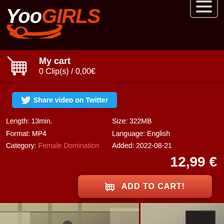YooGirls — My cart 0 Clip(s) / 0,00€
Share video on Twitter
Length: 13min.
Format: MP4
Category: Female Domination
Size: 322MB
Language: English
Added: 2022-08-21
12,99 €
ADD TO CART!
[Figure (photo): Two thumbnail video preview images showing a scene indoors]
This website uses cookies to ensure you get the best experience on our website. By using this website you accept the use of
Ok, got it!